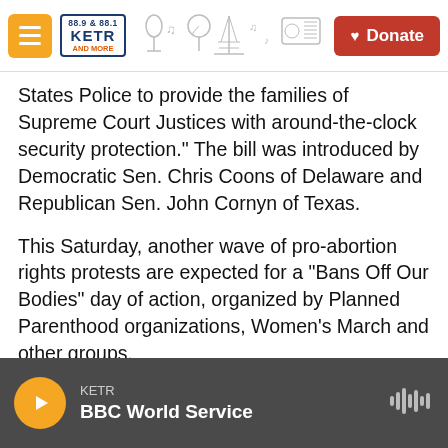KETR 88.9 radio station header with Donate button
States Police to provide the families of Supreme Court Justices with around-the-clock security protection." The bill was introduced by Democratic Sen. Chris Coons of Delaware and Republican Sen. John Cornyn of Texas.
This Saturday, another wave of pro-abortion rights protests are expected for a "Bans Off Our Bodies" day of action, organized by Planned Parenthood organizations, Women's March and other groups.
Copyright 2022 NPR. To see more, visit https://www.npr.org.
KETR — BBC World Service (audio player bar)